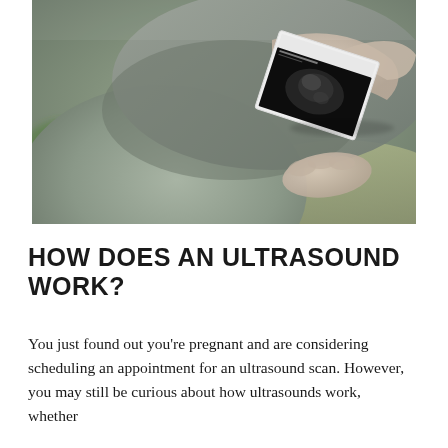[Figure (photo): A pregnant woman in a grey shirt sitting and holding ultrasound scan photos, viewed from above/side angle. A green plant is partially visible in the lower-left foreground.]
HOW DOES AN ULTRASOUND WORK?
You just found out you're pregnant and are considering scheduling an appointment for an ultrasound scan. However, you may still be curious about how ultrasounds work, whether